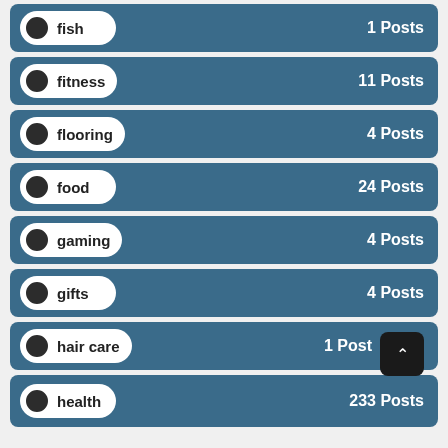fish — 1 Posts
fitness — 11 Posts
flooring — 4 Posts
food — 24 Posts
gaming — 4 Posts
gifts — 4 Posts
hair care — 1 Posts
health — 233 Posts